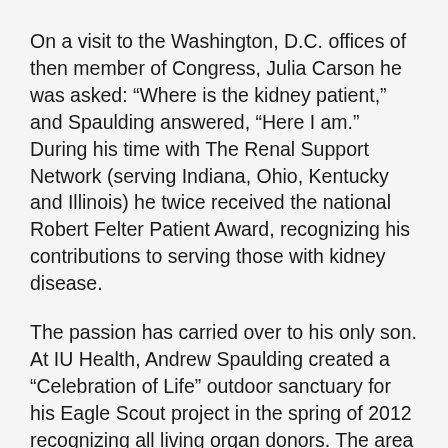On a visit to the Washington, D.C. offices of then member of Congress, Julia Carson he was asked: “Where is the kidney patient,” and Spaulding answered, “Here I am.” During his time with The Renal Support Network (serving Indiana, Ohio, Kentucky and Illinois) he twice received the national Robert Felter Patient Award, recognizing his contributions to serving those with kidney disease.
The passion has carried over to his only son. At IU Health, Andrew Spaulding created a “Celebration of Life” outdoor sanctuary for his Eagle Scout project in the spring of 2012 recognizing all living organ donors. The area includes a